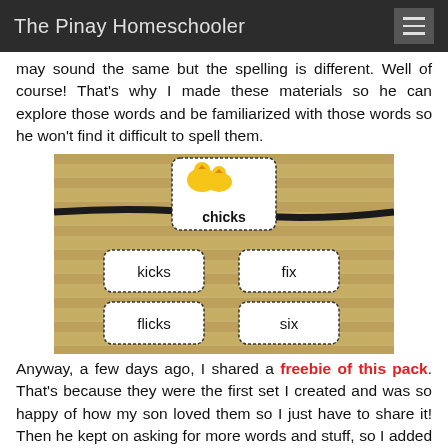The Pinay Homeschooler
may sound the same but the spelling is different. Well of course! That's why I made these materials so he can explore those words and be familiarized with those words so he won't find it difficult to spell them.
[Figure (photo): Photo of word cards on a bamboo mat. Center top card shows two yellow chicks with the word 'chicks'. Below left: 'kicks', below right: 'fix', bottom left: 'flicks', bottom right: 'six'.]
Anyway, a few days ago, I shared a freebie of this pack. That's because they were the first set I created and was so happy of how my son loved them so I just have to share it! Then he kept on asking for more words and stuff, so I added more into the set and I also added word sliders.